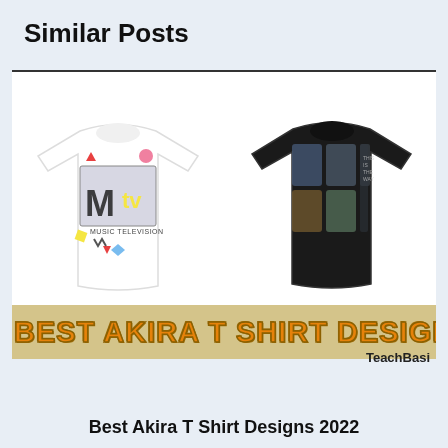Similar Posts
[Figure (photo): Two t-shirts side by side: left is a white MTV Music Television retro 90s graphic t-shirt with colorful geometric shapes; right is a black t-shirt with Star Wars Mandalorian characters arranged in a grid]
[Figure (infographic): Banner reading BEST AKIRA T SHIRT DESIGNS in large orange bold letters on a tan/gold background with TeachBasi credit]
TeachBasi
Best Akira T Shirt Designs 2022